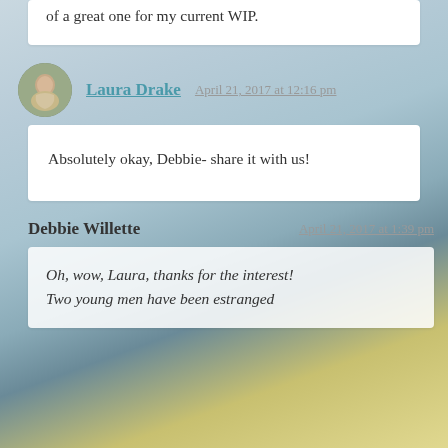of a great one for my current WIP.
Laura Drake
April 21, 2017 at 12:16 pm
Absolutely okay, Debbie- share it with us!
Debbie Willette
April 21, 2017 at 1:39 pm
Oh, wow, Laura, thanks for the interest! Two young men have been estranged